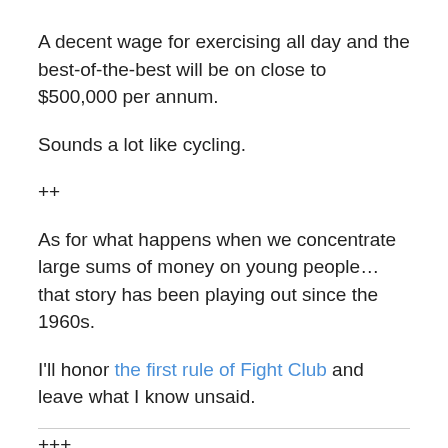A decent wage for exercising all day and the best-of-the-best will be on close to $500,000 per annum.
Sounds a lot like cycling.
++
As for what happens when we concentrate large sums of money on young people… that story has been playing out since the 1960s.
I'll honor the first rule of Fight Club and leave what I know unsaid.
+++
You can find my Ironman thoughts from April 2011 here.